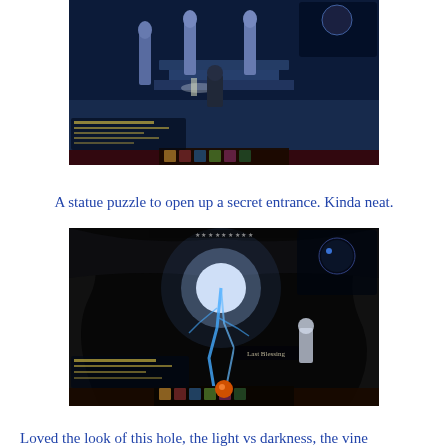[Figure (screenshot): Video game screenshot showing a blue-lit dungeon area with statues and a character, with game UI elements visible]
A statue puzzle to open up a secret entrance. Kinda neat.
[Figure (screenshot): Video game screenshot showing a dark cave area with a glowing white light source and a character, with game UI elements visible]
Loved the look of this hole, the light vs darkness, the vine